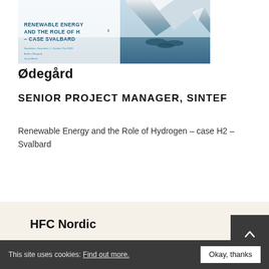[Figure (photo): Slide thumbnail showing snowy mountain landscape with text 'RENEWABLE ENERGY AND THE ROLE OF H2 – CASE SVALBARD', dated Sandviken, November 1, October 21st 2020, by Anders Sllvsgård, Jonas Martin]
Ødegård
SENIOR PROJECT MANAGER, SINTEF
Renewable Energy and the Role of Hydrogen – case H2 – Svalbard
HFC Nordic
This site uses cookies: Find out more. Okay, thanks